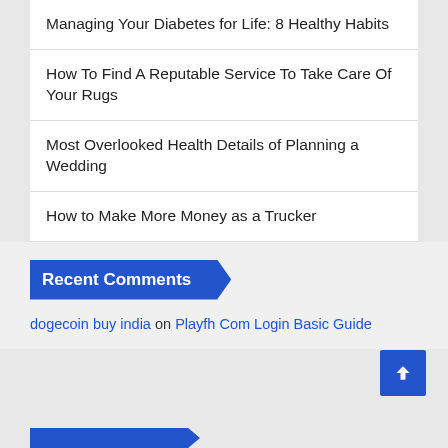Managing Your Diabetes for Life: 8 Healthy Habits
How To Find A Reputable Service To Take Care Of Your Rugs
Most Overlooked Health Details of Planning a Wedding
How to Make More Money as a Trucker
Recent Comments
dogecoin buy india on Playfh Com Login Basic Guide